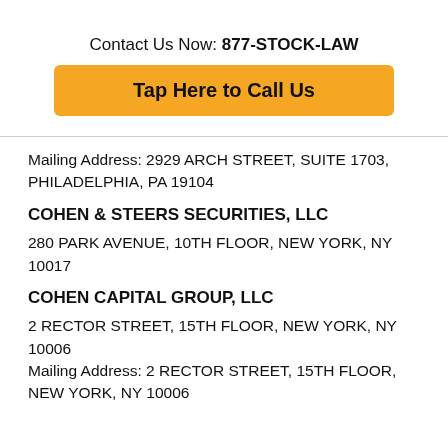Contact Us Now: 877-STOCK-LAW
Tap Here to Call Us
Mailing Address: 2929 ARCH STREET, SUITE 1703, PHILADELPHIA, PA 19104
COHEN & STEERS SECURITIES, LLC
280 PARK AVENUE, 10TH FLOOR, NEW YORK, NY 10017
COHEN CAPITAL GROUP, LLC
2 RECTOR STREET, 15TH FLOOR, NEW YORK, NY 10006
Mailing Address: 2 RECTOR STREET, 15TH FLOOR, NEW YORK, NY 10006